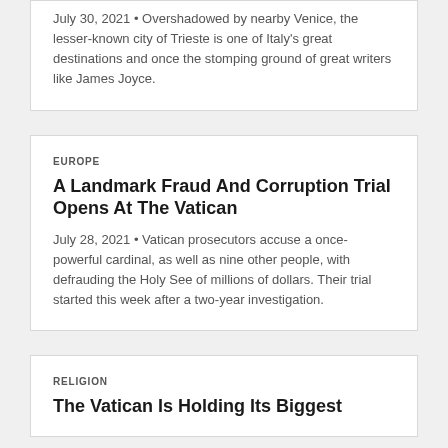July 30, 2021 • Overshadowed by nearby Venice, the lesser-known city of Trieste is one of Italy's great destinations and once the stomping ground of great writers like James Joyce.
EUROPE
A Landmark Fraud And Corruption Trial Opens At The Vatican
July 28, 2021 • Vatican prosecutors accuse a once-powerful cardinal, as well as nine other people, with defrauding the Holy See of millions of dollars. Their trial started this week after a two-year investigation.
RELIGION
The Vatican Is Holding Its Biggest